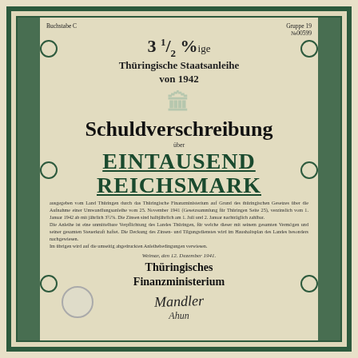Buchstabe C    Gruppe 19    №00599
3½%ige Thüringische Staatsanleihe von 1942
Schuldverschreibung
über EINTAUSEND REICHSMARK
ausgegeben vom Land Thüringen durch das Thüringische Finanzministerium auf Grund des thüringischen Gesetzes über die Aufnahme einer Umwandlungsanleihe vom 25. November 1941 (Gesetzsammlung für Thüringen Seite 25), verzinslich vom 1. Januar 1942 ab mit jährlich 3½%. Die Zinsen sind halbjährlich am 1. Juli und 2. Januar nachträglich zahlbar. Die Anleihe ist eine unmittelbare Verpflichtung des Landes Thüringen, für welche dieser mit seinem gesamten Vermögen und seiner gesamten Steuerkraft haftet. Die Deckung des Zinsens- und Tilgungsdienstes wird im Haushaltsplan des Landes besonders nachgewiesen. Im übrigen wird auf die umseitig abgedruckten Anleihebedingungen verwiesen.
Weimar, den 12. Dezember 1941.
Thüringisches Finanzministerium
[Figure (illustration): Handwritten signature of official]